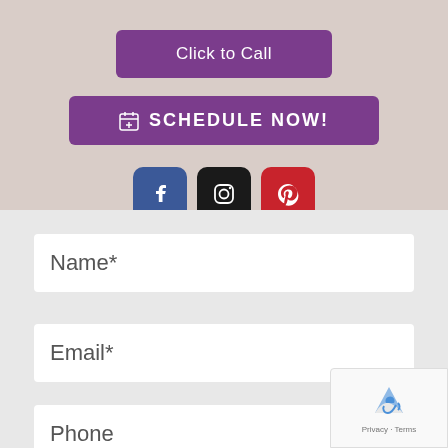[Figure (screenshot): Purple 'Click to Call' button on beige background]
[Figure (screenshot): Purple 'SCHEDULE NOW!' button with calendar icon on beige background]
[Figure (screenshot): Social media icons: Facebook (blue), Instagram (black), Pinterest (red)]
Name*
Email*
Phone